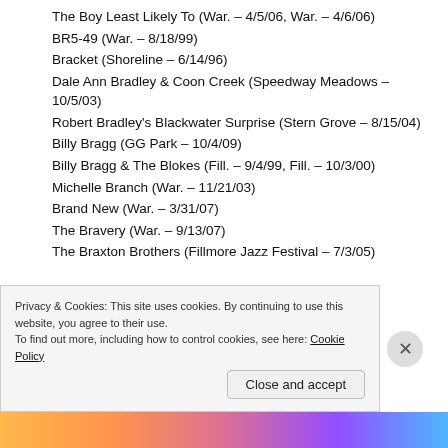The Boy Least Likely To (War. – 4/5/06, War. – 4/6/06)
BR5-49 (War. – 8/18/99)
Bracket (Shoreline – 6/14/96)
Dale Ann Bradley & Coon Creek (Speedway Meadows – 10/5/03)
Robert Bradley's Blackwater Surprise (Stern Grove – 8/15/04)
Billy Bragg (GG Park – 10/4/09)
Billy Bragg & The Blokes (Fill. – 9/4/99, Fill. – 10/3/00)
Michelle Branch (War. – 11/21/03)
Brand New (War. – 3/31/07)
The Bravery (War. – 9/13/07)
The Braxton Brothers (Fillmore Jazz Festival – 7/3/05)
Privacy & Cookies: This site uses cookies. By continuing to use this website, you agree to their use. To find out more, including how to control cookies, see here: Cookie Policy
Close and accept